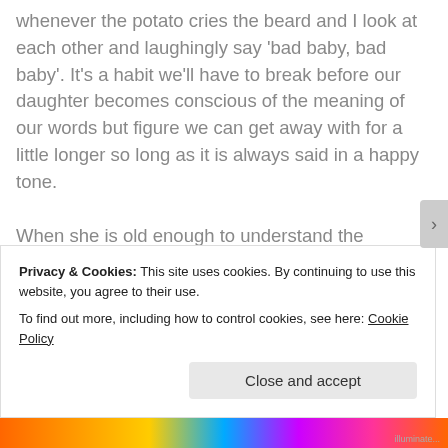whenever the potato cries the beard and I look at each other and laughingly say 'bad baby, bad baby'. It's a habit we'll have to break before our daughter becomes conscious of the meaning of our words but figure we can get away with for a little longer so long as it is always said in a happy tone.

When she is old enough to understand the concepts of those asking if she has been 'good' or 'bad' we'll have to make conscious efforts to explain and to demonstrate to her that it's alright to cry. In the meantime, I'll
Privacy & Cookies: This site uses cookies. By continuing to use this website, you agree to their use.
To find out more, including how to control cookies, see here: Cookie Policy
Close and accept